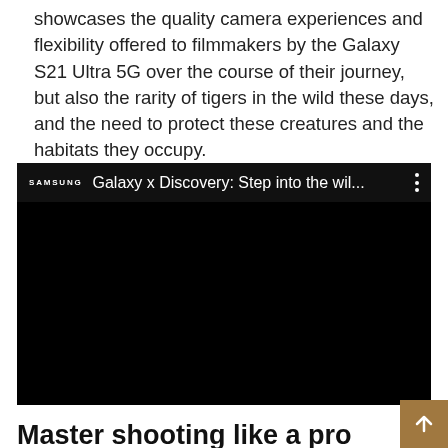showcases the quality camera experiences and flexibility offered to filmmakers by the Galaxy S21 Ultra 5G over the course of their journey, but also the rarity of tigers in the wild these days, and the need to protect these creatures and the habitats they occupy.
[Figure (screenshot): Embedded video thumbnail with black background showing Samsung logo and title 'Galaxy x Discovery: Step into the wil...' with a three-dot menu icon]
Master shooting like a pro with the Galaxy S21 Ultra 5G camera